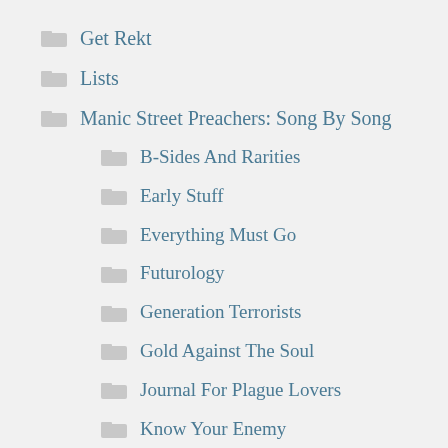Get Rekt
Lists
Manic Street Preachers: Song By Song
B-Sides And Rarities
Early Stuff
Everything Must Go
Futurology
Generation Terrorists
Gold Against The Soul
Journal For Plague Lovers
Know Your Enemy
Lifeblood
Lipstick Traces
Rewind The Film